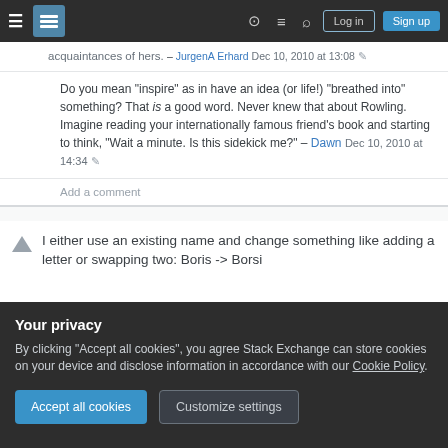Stack Exchange navigation bar with Log in and Sign up buttons
acquaintances of hers. – JurgenA Erhard Dec 10, 2010 at 13:08 ✎
Do you mean "inspire" as in have an idea (or life!) "breathed into" something? That is a good word. Never knew that about Rowling. Imagine reading your internationally famous friend's book and starting to think, "Wait a minute. Is this sidekick me?" – Dawn Dec 10, 2010 at 14:34 ✎
Add a comment
I either use an existing name and change something like adding a letter or swapping two: Boris -> Borsi
Your privacy
By clicking "Accept all cookies", you agree Stack Exchange can store cookies on your device and disclose information in accordance with our Cookie Policy.
Accept all cookies
Customize settings
Improve this answer   Aaron Diqulla